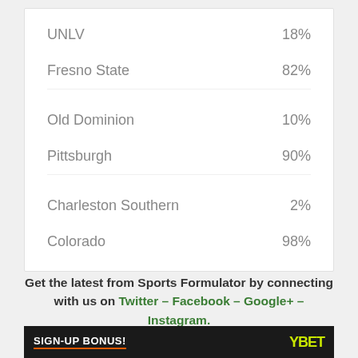| Team | Win % |
| --- | --- |
| UNLV | 18% |
| Fresno State | 82% |
| Old Dominion | 10% |
| Pittsburgh | 90% |
| Charleston Southern | 2% |
| Colorado | 98% |
Get the latest from Sports Formulator by connecting with us on Twitter – Facebook – Google+ – Instagram.
[Figure (other): Advertisement banner: SIGN-UP BONUS! with YBET logo on dark background]